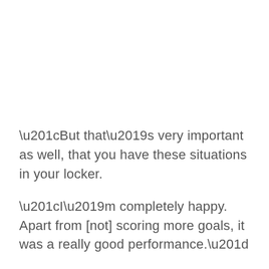“But that’s very important as well, that you have these situations in your locker.

“I’m completely happy. Apart from [not] scoring more goals, it was a really good performance.”